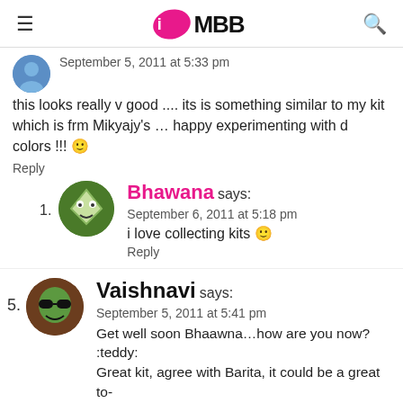IMBB
September 5, 2011 at 5:33 pm
this looks really v good .... its is something similar to my kit which is frm Mikyajy's … happy experimenting with d colors !!! 🙂
Reply
Bhawana says:
September 6, 2011 at 5:18 pm
i love collecting kits 🙂
Reply
Vaishnavi says:
September 5, 2011 at 5:41 pm
Get well soon Bhaawna…how are you now? :teddy: Great kit, agree with Rarita, it could be a great to-